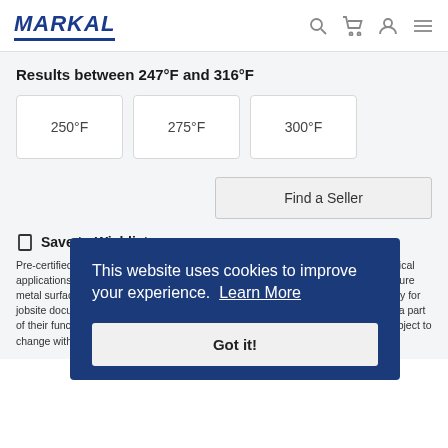MARKAL
Results between 247°F and 316°F
250°F
275°F
300°F
Find a Seller
Save to Wishlist
Pre-certified to meet nuclear and military low-corrosion specifications for safety critical applications. Certified Thermomelt® ASTM-D2 is an instrument to accurately measure metal surface temperatures. With over 20 available temperatures and lot traceability for jobsite documentation. Please note that the color of the Thermomelt sticks are not a part of their function, since the temperature signal consists of melting indication, it is subject to change without notice.
This website uses cookies to improve your experience.  Learn More
Got it!